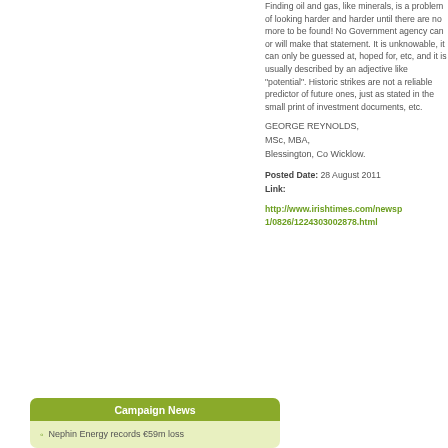Finding oil and gas, like minerals, is a problem of looking harder and harder until there are no more to be found! No Government agency can or will make that statement. It is unknowable, it can only be guessed at, hoped for, etc, and it is usually described by an adjective like "potential". Historic strikes are not a reliable predictor of future ones, just as stated in the small print of investment documents, etc.
GEORGE REYNOLDS,
MSc, MBA,
Blessington, Co Wicklow.
Posted Date: 28 August 2011
Link:
http://www.irishtimes.com/newspaper/1/0826/1224303002878.html
Campaign News
Nephin Energy records €59m loss